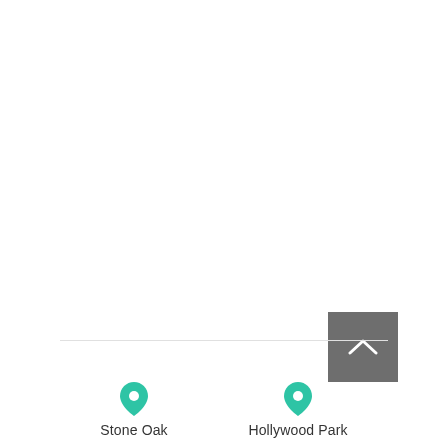[Figure (other): Gray square button with white upward chevron arrow icon, positioned in lower right area of a mostly white page]
[Figure (infographic): Two location pin icons in teal/green color with labels 'Stone Oak' and 'Hollywood Park' below a horizontal divider line at the bottom of the page]